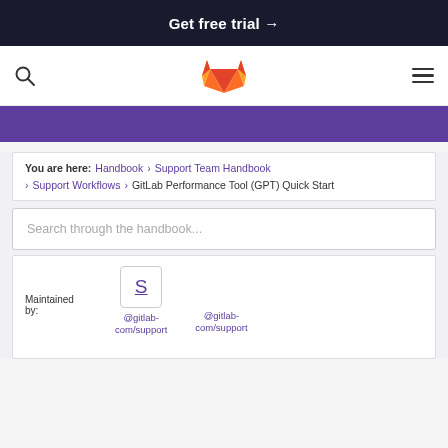Get free trial →
[Figure (logo): GitLab fox logo in orange/red colors, centered in navigation bar with search icon on left and hamburger menu on right]
You are here: Handbook > Support Team Handbook > Support Workflows > GitLab Performance Tool (GPT) Quick Start
Search through the handbook...
Maintained by: @gitlab-com/support @gitlab-com/support